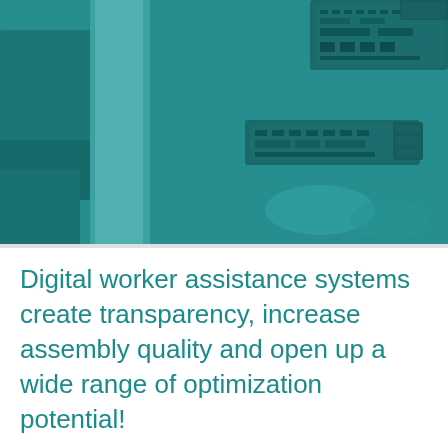[Figure (photo): A teal/cyan-tinted overhead photo of an industrial manufacturing or assembly workspace, showing electronic circuit boards, equipment, and assembly line elements on a teal-colored surface. The image has a strong teal color overlay giving it a monochromatic blue-green appearance.]
Digital worker assistance systems create transparency, increase assembly quality and open up a wide range of optimization potential!